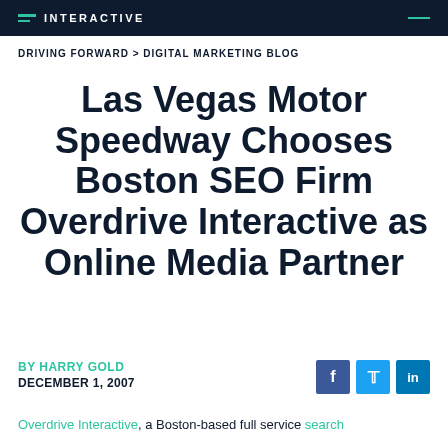INTERACTIVE
DRIVING FORWARD > DIGITAL MARKETING BLOG
Las Vegas Motor Speedway Chooses Boston SEO Firm Overdrive Interactive as Online Media Partner
BY HARRY GOLD
DECEMBER 1, 2007
Overdrive Interactive, a Boston-based full service search